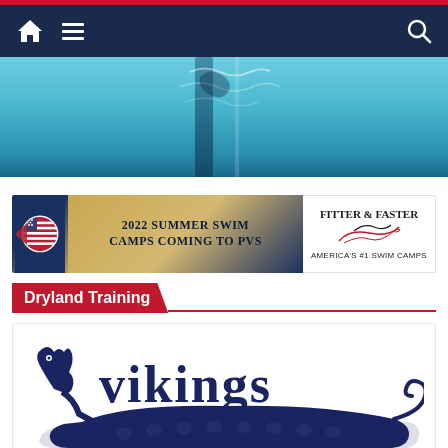Navigation bar with home icon, menu icon, and search icon
[Figure (photo): Swimming pool lane photo showing blue water with dark lane dividers and rippling water surface]
[Figure (infographic): 2022 Summer Swim Camps Coming to PVS banner with US flag circle on left, text in middle, and Fitter & Faster America's #1 Swim Camps logo on right]
Dryland Training
[Figure (logo): Vikings Clarksburg Village Swim Team logo featuring a dragon ship and stylized viking text in dark navy blue]